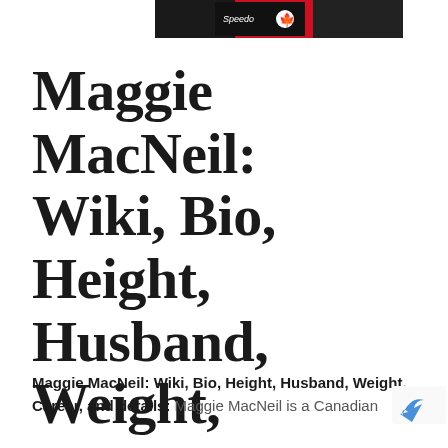[Figure (photo): Partial photo banner showing a swimmer wearing a Speedo cap with a Canadian maple leaf, red background, cropped at top of page]
Maggie MacNeil: Wiki, Bio, Height, Husband, Weight, Career
Maggie MacNeil: Wiki, Bio, Height, Husband, Weight, Career, and details: Maggie MacNeil is a Canadian